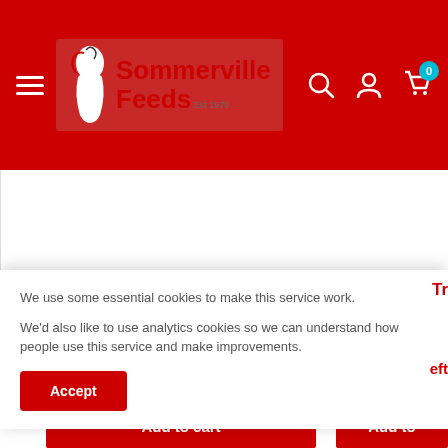[Figure (logo): Sommerville Feeds logo with horse head silhouette on red navigation bar]
[Figure (screenshot): White product image area with grey border on left side]
We use some essential cookies to make this service work.
We'd also like to use analytics cookies so we can understand how people use this service and make improvements.
Accept
Tr
eft
Add to cart
Add to